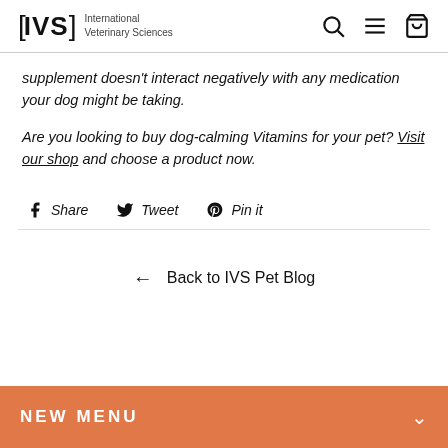[IVS] International Veterinary Sciences
supplement doesn't interact negatively with any medication your dog might be taking.
Are you looking to buy dog-calming Vitamins for your pet? Visit our shop and choose a product now.
f Share   Tweet   Pin it
← Back to IVS Pet Blog
NEW MENU